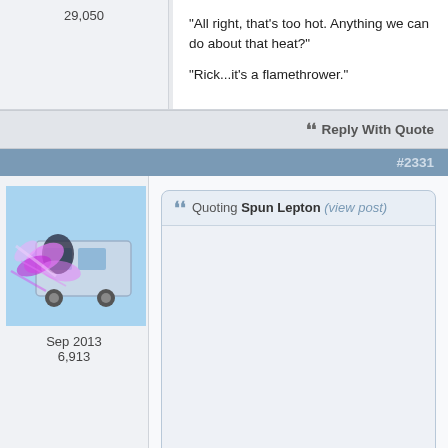29,050
"All right, that's too hot. Anything we can do about that heat?"
"Rick...it's a flamethrower."
Reply With Quote
#2331
[Figure (illustration): Avatar image showing a stylized character with pink/purple energy effects and a vehicle in the background]
Sep 2013
6,913
Quoting Spun Lepton (view post)